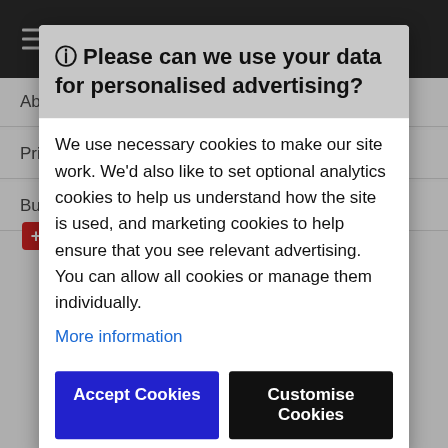British Surnames
About this site
Privacy Policy
Bu
🛈 Please can we use your data for personalised advertising?
We use necessary cookies to make our site work. We'd also like to set optional analytics cookies to help us understand how the site is used, and marketing cookies to help ensure that you see relevant advertising. You can allow all cookies or manage them individually.
More information
Accept Cookies
Customise Cookies